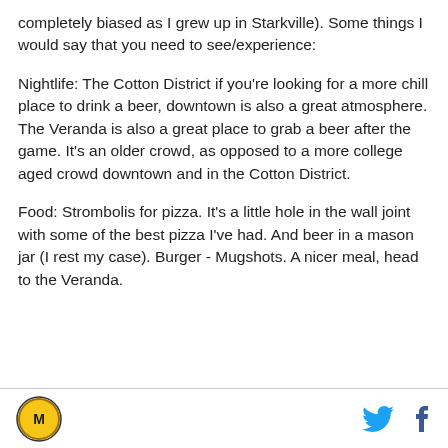completely biased as I grew up in Starkville). Some things I would say that you need to see/experience:
Nightlife: The Cotton District if you're looking for a more chill place to drink a beer, downtown is also a great atmosphere. The Veranda is also a great place to grab a beer after the game. It's an older crowd, as opposed to a more college aged crowd downtown and in the Cotton District.
Food: Strombolis for pizza. It's a little hole in the wall joint with some of the best pizza I've had. And beer in a mason jar (I rest my case). Burger - Mugshots. A nicer meal, head to the Veranda.
Logo and social icons